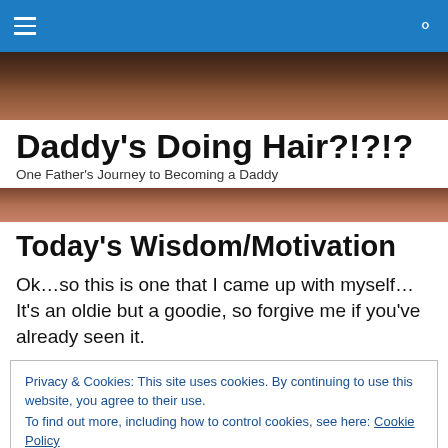Daddy's Doing Hair?!?!? — navigation bar
[Figure (photo): Close-up photo of curly hair, dark brown tones, serving as hero image background]
Daddy's Doing Hair?!?!?
One Father's Journey to Becoming a Daddy
[Figure (photo): Close-up photo of curly hair and face, pinkish-brown tones, serving as bottom hero image]
Today's Wisdom/Motivation
Ok…so this is one that I came up with myself…It's an oldie but a goodie, so forgive me if you've already seen it.
Privacy & Cookies: This site uses cookies. By continuing to use this website, you agree to their use.
To find out more, including how to control cookies, see here: Cookie Policy